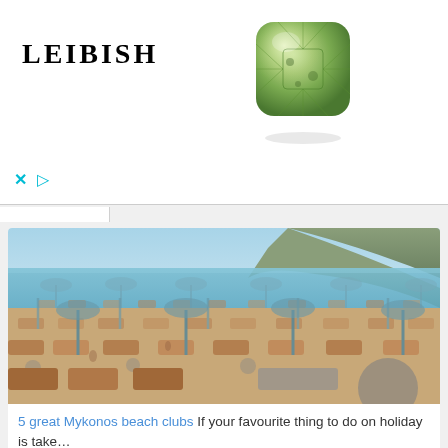[Figure (logo): Leibish jewelry advertisement banner with LEIBISH text logo on left and green cushion-cut diamond/gem image on right]
[Figure (photo): Beach scene at Mykonos showing rows of sun loungers and beach umbrellas with the sea and hillside in the background]
5 great Mykonos beach clubs If your favourite thing to do on holiday is take…
[Figure (photo): Partially visible second beach/nature photo at bottom of page]